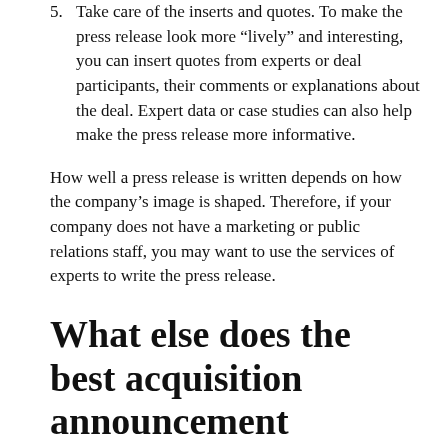5. Take care of the inserts and quotes. To make the press release look more “lively” and interesting, you can insert quotes from experts or deal participants, their comments or explanations about the deal. Expert data or case studies can also help make the press release more informative.
How well a press release is written depends on how the company’s image is shaped. Therefore, if your company does not have a marketing or public relations staff, you may want to use the services of experts to write the press release.
What else does the best acquisition announcement contain?